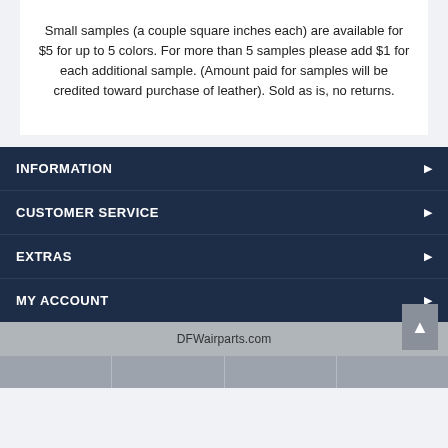Small samples (a couple square inches each) are available for $5 for up to 5 colors. For more than 5 samples please add $1 for each additional sample. (Amount paid for samples will be credited toward purchase of leather). Sold as is, no returns.
INFORMATION
CUSTOMER SERVICE
EXTRAS
MY ACCOUNT
DFWairparts.com